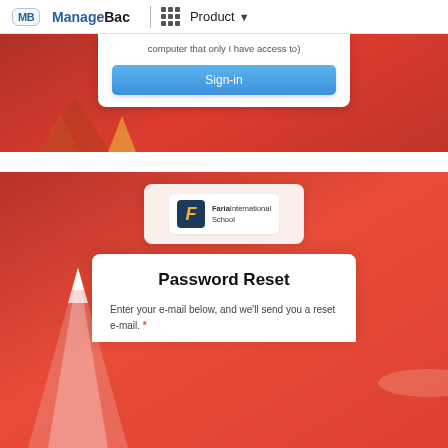ManageBac | Product
[Figure (screenshot): Sign-in card partially visible on red background, showing text 'computer that only I have access to)' and a blue Sign-in button]
[Figure (screenshot): Password Reset page on red background with mountain illustration. Shows Faria International School logo card and a white card with 'Password Reset' title and text 'Enter your e-mail below, and we'll send you a reset e-mail.*']
Password Reset
Enter your e-mail below, and we'll send you a reset e-mail.*